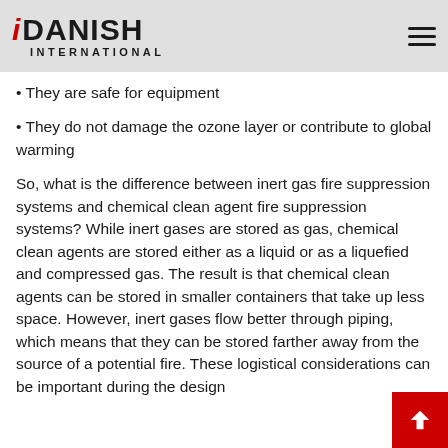Danish International logo and navigation header
They are safe for equipment
They do not damage the ozone layer or contribute to global warming
So, what is the difference between inert gas fire suppression systems and chemical clean agent fire suppression systems? While inert gases are stored as gas, chemical clean agents are stored either as a liquid or as a liquefied and compressed gas. The result is that chemical clean agents can be stored in smaller containers that take up less space. However, inert gases flow better through piping, which means that they can be stored farther away from the source of a potential fire. These logistical considerations can be important during the design